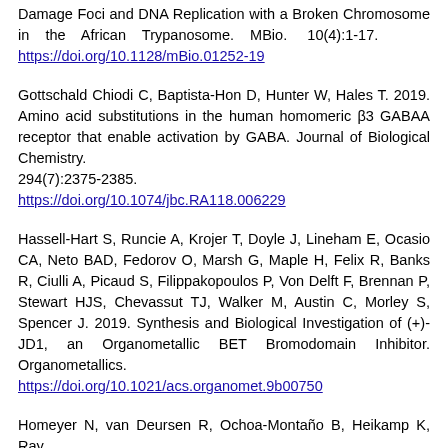Damage Foci and DNA Replication with a Broken Chromosome in the African Trypanosome. MBio. 10(4):1-17. https://doi.org/10.1128/mBio.01252-19
Gottschald Chiodi C, Baptista-Hon D, Hunter W, Hales T. 2019. Amino acid substitutions in the human homomeric β3 GABAA receptor that enable activation by GABA. Journal of Biological Chemistry. 294(7):2375-2385. https://doi.org/10.1074/jbc.RA118.006229
Hassell-Hart S, Runcie A, Krojer T, Doyle J, Lineham E, Ocasio CA, Neto BAD, Fedorov O, Marsh G, Maple H, Felix R, Banks R, Ciulli A, Picaud S, Filippakopoulos P, Von Delft F, Brennan P, Stewart HJS, Chevassut TJ, Walker M, Austin C, Morley S, Spencer J. 2019. Synthesis and Biological Investigation of (+)-JD1, an Organometallic BET Bromodomain Inhibitor. Organometallics. https://doi.org/10.1021/acs.organomet.9b00750
Homeyer N, van Deursen R, Ochoa-Montaño B, Heikamp K, Ray...